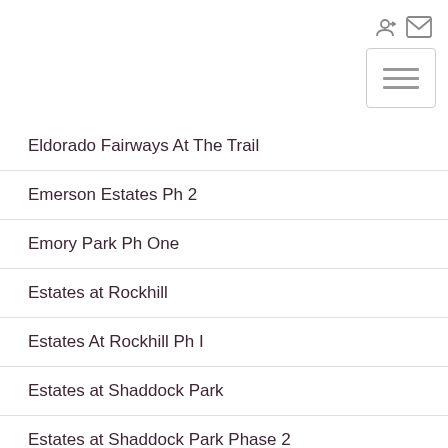[Figure (other): Top navigation bar with login icon, mail icon, and hamburger menu button]
Eldorado Fairways At The Trail
Emerson Estates Ph 2
Emory Park Ph One
Estates at Rockhill
Estates At Rockhill Ph I
Estates at Shaddock Park
Estates at Shaddock Park Phase 2